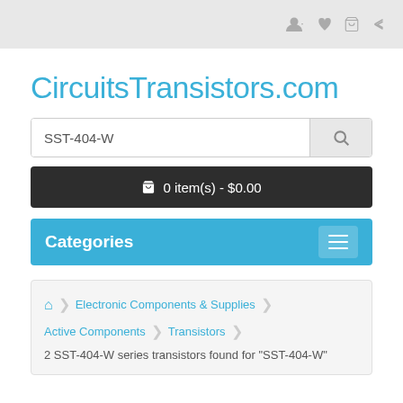Top navigation bar with user, wishlist, cart, and share icons
CircuitsTransistors.com
SST-404-W [search field]
🛒 0 item(s) - $0.00
Categories
🏠 > Electronic Components & Supplies > Active Components > Transistors > 2 SST-404-W series transistors found for "SST-404-W"